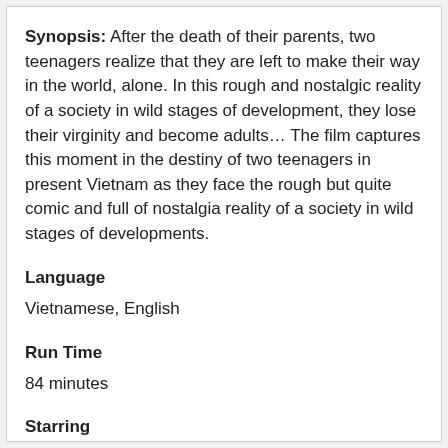Synopsis: After the death of their parents, two teenagers realize that they are left to make their way in the world, alone. In this rough and nostalgic reality of a society in wild stages of development, they lose their virginity and become adults… The film captures this moment in the destiny of two teenagers in present Vietnam as they face the rough but quite comic and full of nostalgia reality of a society in wild stages of developments.
Language
Vietnamese, English
Run Time
84 minutes
Starring
Nguyen Phuong Linh (Mai)
Ngo Xuan An (Vinh)
Ngo Tra Mi (The blind musicien lady)
Directed by